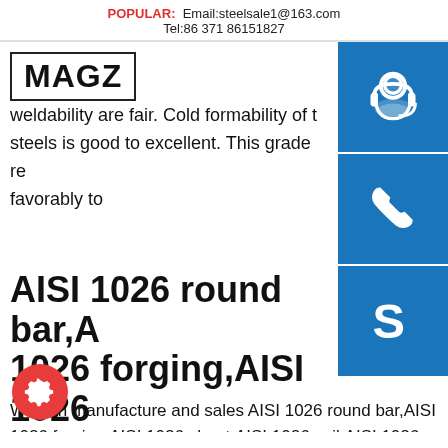POPULAR: Email:steelsale1@163.com Tel:86 371 86151827
MAGZ
weldability are fair. Cold formability of these steels is good to excellent. This grade responds favorably to
AISI 1026 round bar,AISI 1026 forging,AISI 1026 sheet,AISI
We can manufacture and sales AISI 1026 round bar,AISI 1026 forging,AISI 1026 sheet,AISI 1026 coil,AISI 1026 flat bar,AISI 1026